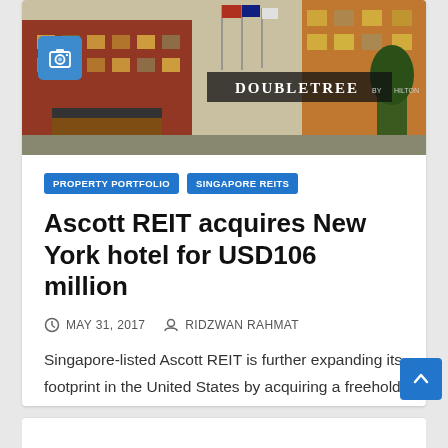[Figure (photo): Exterior photo of a DoubleTree by Hilton hotel building with illuminated signage, brick facade, and flags]
PROPERTY PORTFOLIO
SINGAPORE REITS
Ascott REIT acquires New York hotel for USD106 million
MAY 31, 2017   RIDZWAN RAHMAT
Singapore-listed Ascott REIT is further expanding its footprint in the United States by acquiring a freehold 224-unit hotel in Times…